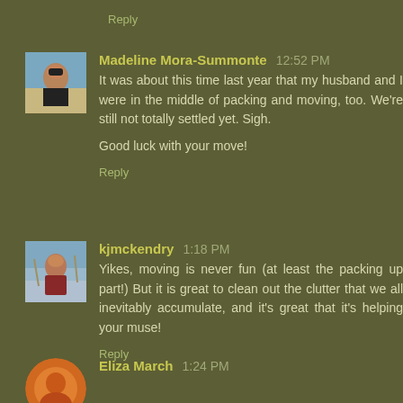Reply
Madeline Mora-Summonte  12:52 PM
It was about this time last year that my husband and I were in the middle of packing and moving, too. We're still not totally settled yet. Sigh.

Good luck with your move!
Reply
kjmckendry  1:18 PM
Yikes, moving is never fun (at least the packing up part!) But it is great to clean out the clutter that we all inevitably accumulate, and it's great that it's helping your muse!
Reply
Eliza March  1:24 PM